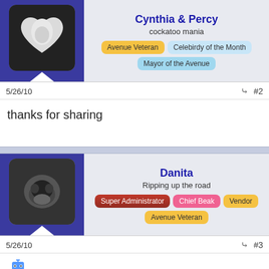[Figure (photo): Avatar photo of Cynthia & Percy - heart-shaped white cockatoo image with dark background]
Cynthia & Percy
cockatoo mania
Avenue Veteran | Celebirdy of the Month | Mayor of the Avenue
5/26/10  #2
thanks for sharing
[Figure (photo): Avatar photo of Danita - animal photo, dark image]
Danita
Ripping up the road
Super Administrator | Chief Beak | Vendor | Avenue Veteran
5/26/10  #3
[Figure (other): Small pixel-art emoji / emoticon]
cassiophys, faislaq and Katy
Archiesmom